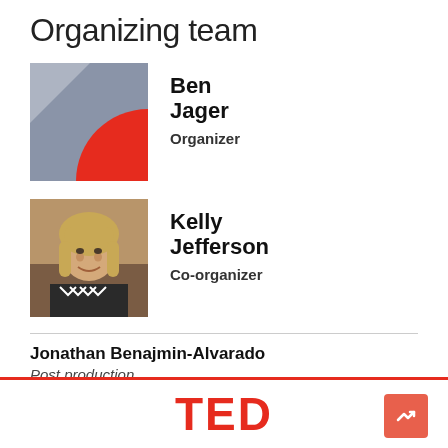Organizing team
[Figure (photo): Profile photo placeholder for Ben Jager — grey background with red circle shape (abstract TED-style avatar)]
Ben Jager
Organizer
[Figure (photo): Photo of Kelly Jefferson — a young woman with blonde hair and bangs, smiling, wearing a black patterned top]
Kelly Jefferson
Co-organizer
Jonathan Benajmin-Alvarado
Post production
[Figure (logo): TED logo in red bold letters]
[Figure (other): Red rounded-corner button with white upward trending arrow icon]